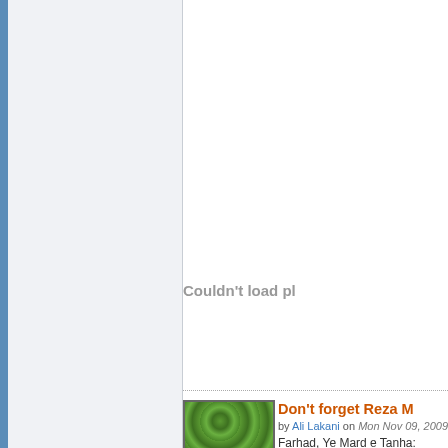Couldn't load pl
[Figure (photo): Thumbnail image of green seeds or beans]
Don't forget Reza M
by Ali Lakani on Mon Nov 09, 2009 12:2
Farhad, Ye Mard e Tanha: